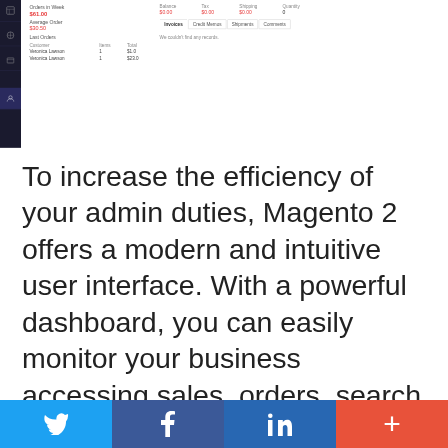[Figure (screenshot): Magento 2 admin dashboard screenshot showing order stats, average order value, lost orders table, and a customer detail panel with invoices/credit memos/shipments/comments tabs]
To increase the efficiency of your admin duties, Magento 2 offers a modern and intuitive user interface. With a powerful dashboard, you can easily monitor your business accessing sales, orders, search terms, bestsellers, etc. Enhanced navigation, advanced admin search, and multiple other features make it easy to find the information you need. Furthermore, management screens are fully customizable so that you can configure them according to your specific needs. Let's see what exact areas are enhanced in Magento 2
Customer Management
Twitter Facebook LinkedIn +